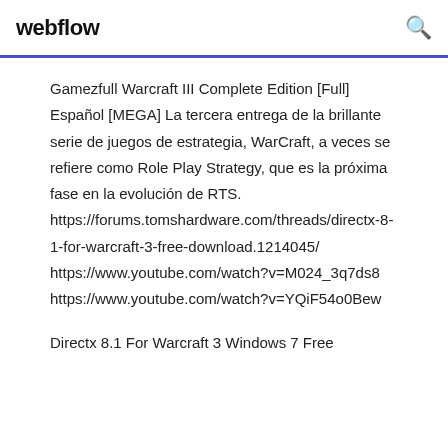webflow
Gamezfull Warcraft III Complete Edition [Full] Español [MEGA] La tercera entrega de la brillante serie de juegos de estrategia, WarCraft, a veces se refiere como Role Play Strategy, que es la próxima fase en la evolución de RTS.
https://forums.tomshardware.com/threads/directx-8-1-for-warcraft-3-free-download.1214045/
https://www.youtube.com/watch?v=M024_3q7ds8
https://www.youtube.com/watch?v=YQiF54o0Bew
Directx 8.1 For Warcraft 3 Windows 7 Free